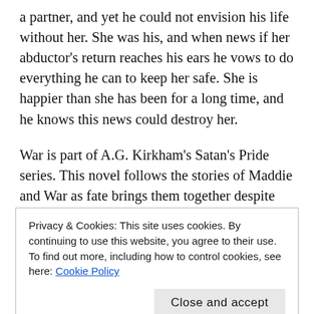a partner, and yet he could not envision his life without her. She was his, and when news if her abductor's return reaches his ears he vows to do everything he can to keep her safe. She is happier than she has been for a long time, and he knows this news could destroy her.
War is part of A.G. Kirkham's Satan's Pride series. This novel follows the stories of Maddie and War as fate brings them together despite events from the past, and promises made to themselves attempting to keep them apart. It is wonderful to watch Maddie
Privacy & Cookies: This site uses cookies. By continuing to use this website, you agree to their use.
To find out more, including how to control cookies, see here: Cookie Policy
Close and accept
first-person perspective, mainly from either